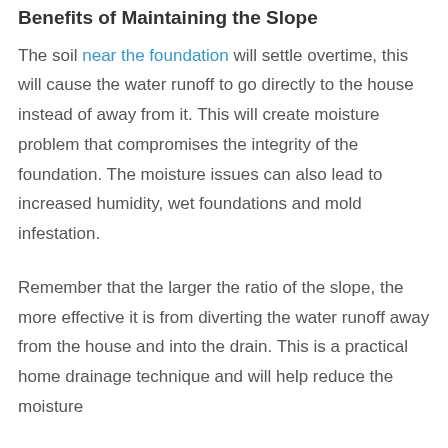Benefits of Maintaining the Slope
The soil near the foundation will settle overtime, this will cause the water runoff to go directly to the house instead of away from it. This will create moisture problem that compromises the integrity of the foundation. The moisture issues can also lead to increased humidity, wet foundations and mold infestation.
Remember that the larger the ratio of the slope, the more effective it is from diverting the water runoff away from the house and into the drain. This is a practical home drainage technique and will help reduce the moisture